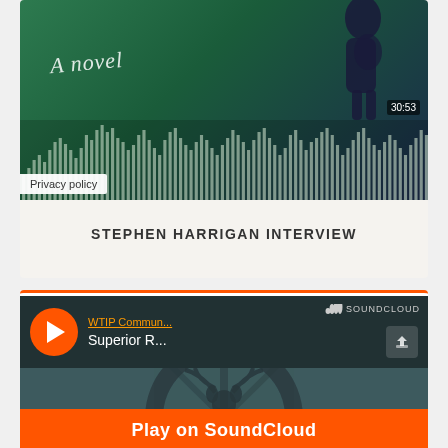[Figure (screenshot): SoundCloud embedded player showing a Stephen Harrigan Interview track. The player shows a green/dark waveform visualization with 'A novel' written in italic on the left, a dark silhouette figure on the right, and a timestamp of 30:53. A 'Privacy policy' badge appears at the bottom left.]
STEPHEN HARRIGAN INTERVIEW
[Figure (screenshot): Second SoundCloud embedded player showing a WTIP Community radio track titled 'Superior R...' with an orange play button, SoundCloud logo, share button, deer/antler artwork in the background, and an orange 'Play on SoundCloud' bar at the bottom.]